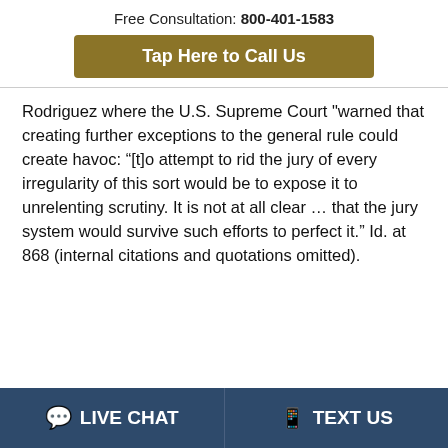Free Consultation: 800-401-1583
Tap Here to Call Us
Rodriguez where the U.S. Supreme Court "warned that creating further exceptions to the general rule could create havoc: “[t]o attempt to rid the jury of every irregularity of this sort would be to expose it to unrelenting scrutiny. It is not at all clear ... that the jury system would survive such efforts to perfect it.” Id. at 868 (internal citations and quotations omitted).
LIVE CHAT   TEXT US